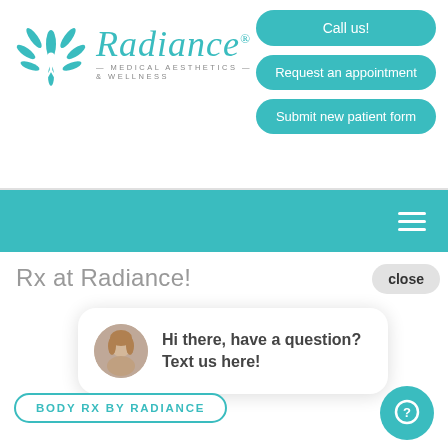[Figure (logo): Radiance Medical Aesthetics & Wellness logo with teal floral/leaf icon and cursive Radiance text]
[Figure (screenshot): Three teal rounded rectangle buttons: Call us!, Request an appointment, Submit new patient form]
[Figure (screenshot): Teal navigation bar with hamburger menu icon]
Rx at Radiance!
close
[Figure (screenshot): Chat popup bubble with avatar photo of woman and text: Hi there, have a question? Text us here!]
BODY RX BY RADIANCE
[Figure (screenshot): Teal circular chat/message button at bottom right]